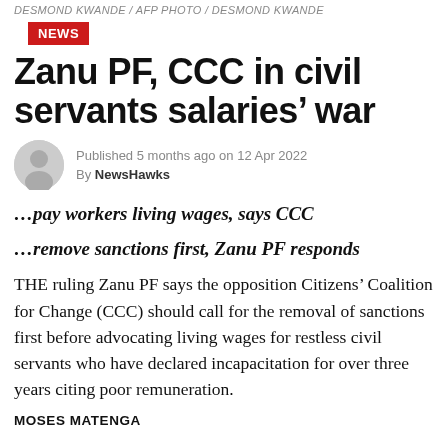DESMOND KWANDE / AFP PHOTO / DESMOND KWANDE
NEWS
Zanu PF, CCC in civil servants salaries' war
Published 5 months ago on 12 Apr 2022
By NewsHawks
…pay workers living wages, says CCC
…remove sanctions first, Zanu PF responds
THE ruling Zanu PF says the opposition Citizens' Coalition for Change (CCC) should call for the removal of sanctions first before advocating living wages for restless civil servants who have declared incapacitation for over three years citing poor remuneration.
MOSES MATENGA